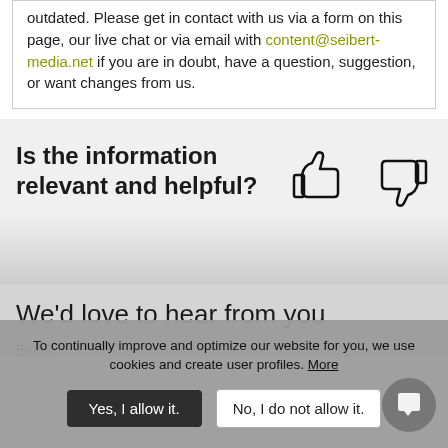outdated. Please get in contact with us via a form on this page, our live chat or via email with content@seibert-media.net if you are in doubt, have a question, suggestion, or want changes from us.
Is the information relevant and helpful?
[Figure (illustration): Thumbs up and thumbs down icons for feedback]
We'd love to hear from you
Email*
To continually improve and optimize our website for you, we use cookies and create user profiles. More
Yes, I allow it.
No, I do not allow it.